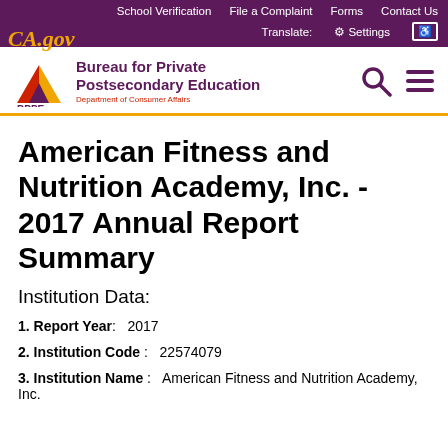School Verification | File a Complaint | Forms | Contact Us | Translate: | Settings
[Figure (logo): CA.GOV logo and Bureau for Private Postsecondary Education (BPPE) - Department of Consumer Affairs logo with BPPE triangle emblem]
American Fitness and Nutrition Academy, Inc. - 2017 Annual Report Summary
Institution Data:
1. Report Year:   2017
2. Institution Code:   22574079
3. Institution Name:   American Fitness and Nutrition Academy, Inc.